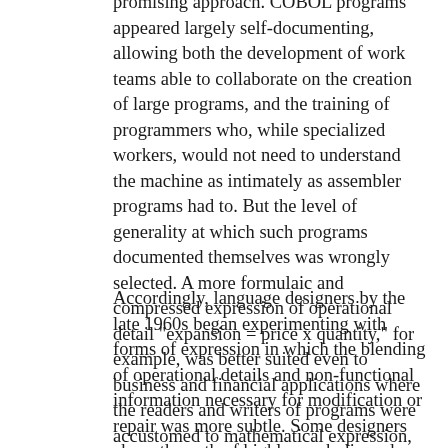promising approach. COBOL programs appeared largely self-documenting, allowing both the development of work teams able to collaborate on the creation of large programs, and the training of programmers who, while specialized workers, would not need to understand the machine as intimately as assembler programs had to. But the level of generality at which such programs documented themselves was wrongly selected. A more formulaic and compressed expression of operational detail "expansion = price x quantity," for example, was better suited even to business and financial applications where the readers and writers of programs were accustomed to mathematical expression, while the processes of describing both data structures and the larger operational context of the program were not rendered unnecessary by the wordiness of the language in which the details of execution were specified.
Accordingly, language designers by the late 1960s began experimenting with forms of expression in which the blending of operational details and non-functional information necessary for modification or repair was more subtle. Some designers chose the path of highly symbolic and compressed languages, in which the programmer manipulated data abstractly, so